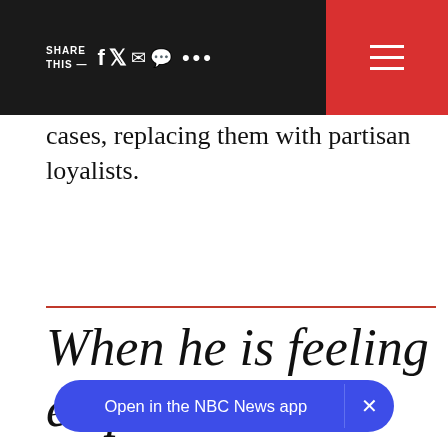SHARE THIS — [social icons] [hamburger menu]
cases, replacing them with partisan loyalists.
When he is feeling empowered or particularly aggrieved, he takes
Open in the NBC News app